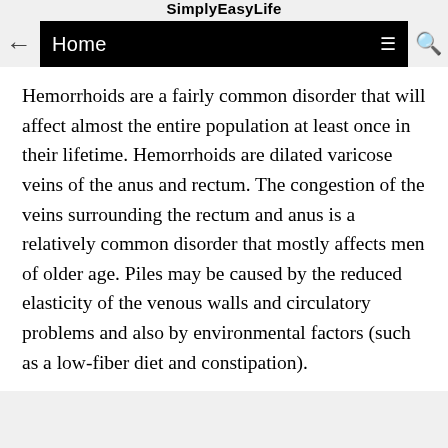SimplyEasyLife
Home
Hemorrhoids are a fairly common disorder that will affect almost the entire population at least once in their lifetime. Hemorrhoids are dilated varicose veins of the anus and rectum. The congestion of the veins surrounding the rectum and anus is a relatively common disorder that mostly affects men of older age. Piles may be caused by the reduced elasticity of the venous walls and circulatory problems and also by environmental factors (such as a low-fiber diet and constipation).